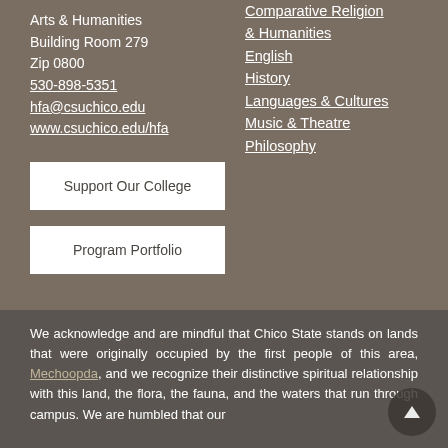Arts & Humanities Building Room 279 Zip 0800 530-898-5351 hfa@csuchico.edu www.csuchico.edu/hfa
Comparative Religion & Humanities
English
History
Languages & Cultures
Music & Theatre
Philosophy
Support Our College
Program Portfolio
We acknowledge and are mindful that Chico State stands on lands that were originally occupied by the first people of this area, Mechoopda, and we recognize their distinctive spiritual relationship with this land, the flora, the fauna, and the waters that run through campus. We are humbled that our